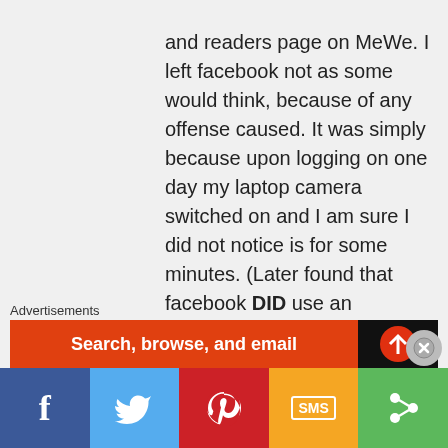and readers page on MeWe. I left facebook not as some would think, because of any offense caused. It was simply because upon logging on one day my laptop camera switched on and I am sure I did not notice is for some minutes. (Later found that facebook DID use an algorithm to do this.) I miss the cut and thrust of debate, and the humour of so many, but I don't feel comfortable any more with facebook data gathering and certainly not their use of their algorithm to turn on cameras. Please give my regards to all and I do hope to
Advertisements
[Figure (screenshot): Advertisement banner showing 'Search, browse, and email' with a red background and a dark icon on the right, with a close button overlay]
[Figure (infographic): Social sharing bar with five buttons: Facebook (blue, 'f'), Twitter (light blue, bird icon), Pinterest (red, 'P' circle), SMS (orange, 'SMS' box), Share more (green, '<' share icon)]